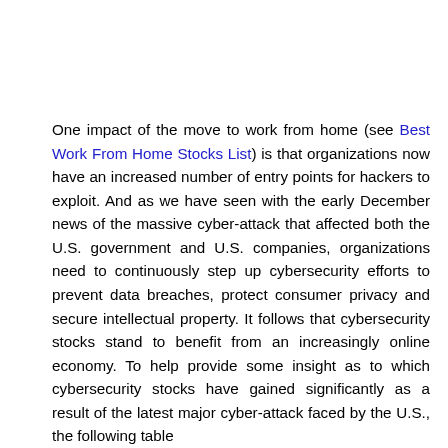One impact of the move to work from home (see Best Work From Home Stocks List) is that organizations now have an increased number of entry points for hackers to exploit. And as we have seen with the early December news of the massive cyber-attack that affected both the U.S. government and U.S. companies, organizations need to continuously step up cybersecurity efforts to prevent data breaches, protect consumer privacy and secure intellectual property. It follows that cybersecurity stocks stand to benefit from an increasingly online economy. To help provide some insight as to which cybersecurity stocks have gained significantly as a result of the latest major cyber-attack faced by the U.S., the following table